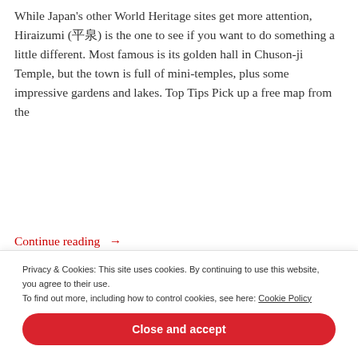While Japan's other World Heritage sites get more attention, Hiraizumi (平泉) is the one to see if you want to do something a little different. Most famous is its golden hall in Chuson-ji Temple, but the town is full of mini-temples, plus some impressive gardens and lakes. Top Tips Pick up a free map from the
Continue reading →
Matthew Baxter   June 2, 2014
Best in Tohoku, Tohoku, Tohoku Shrines and Temples, Top Shrines and Temples, Tradition in Tohoku, World Heritage Sites
backpackers, beautiful, budget, cheap, discount, famous, festival, free, gardens...
Privacy & Cookies: This site uses cookies. By continuing to use this website, you agree to their use.
To find out more, including how to control cookies, see here: Cookie Policy
Close and accept